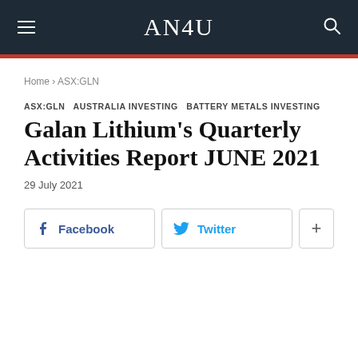AN4U
Home › ASX:GLN
ASX:GLN  AUSTRALIA INVESTING  BATTERY METALS INVESTING
Galan Lithium's Quarterly Activities Report JUNE 2021
29 July 2021
[Figure (other): Social share buttons: Facebook, Twitter, and a plus/more button]